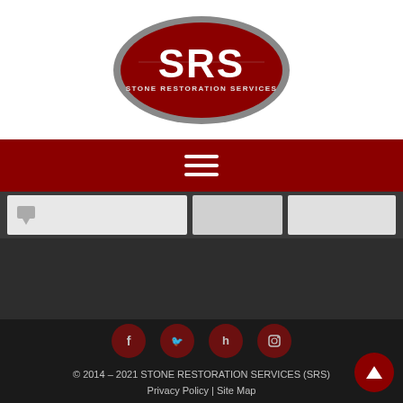[Figure (logo): SRS Stone Restoration Services oval logo with grey outer ring, red fill, white bold SRS letters and smaller text STONE RESTORATION SERVICES]
[Figure (infographic): Red navigation bar with white hamburger menu icon (three horizontal lines)]
[Figure (screenshot): Partially visible content cards on dark grey background]
[Figure (infographic): Social media icons (Facebook, Twitter, X/Houzz, Instagram) in dark red circles on black footer]
© 2014 – 2021 STONE RESTORATION SERVICES (SRS) Privacy Policy | Site Map